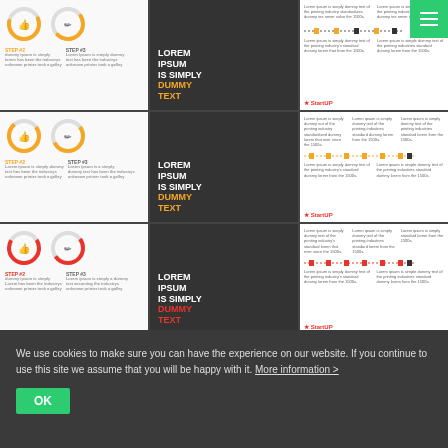[Figure (screenshot): Grid of 9 presentation slide thumbnails showing 'StartUP' PowerPoint template slides — includes infographic circles with STEP labels, Lorem Ipsum dummy text slides with orange/red accent colors, dark background slides with person at laptop, and timeline/milestone slides. A green hamburger menu button appears in the top-right corner.]
What is the “StartUP” PowerPoint template for?
Frequently, the presentations are used in order to present
We use cookies to make sure you can have the experience on our website. If you continue to use this site we assume that you will be happy with it. More information >
OK